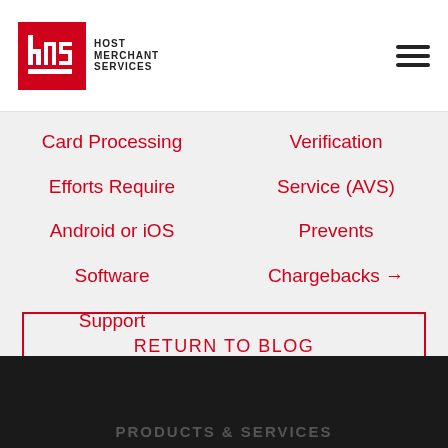Host Merchant Services
Card Processing Efforts Require Android or iOS Software Support
Verification Service (AVS) Prevents Chargebacks →
RETURN TO BLOG
PRODUCTS & SERVICES